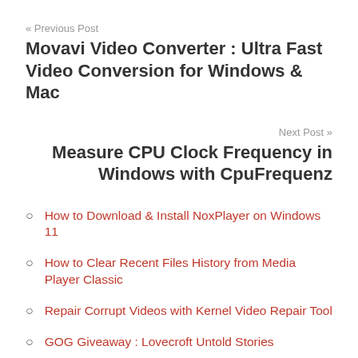« Previous Post
Movavi Video Converter : Ultra Fast Video Conversion for Windows & Mac
Next Post »
Measure CPU Clock Frequency in Windows with CpuFrequenz
How to Download & Install NoxPlayer on Windows 11
How to Clear Recent Files History from Media Player Classic
Repair Corrupt Videos with Kernel Video Repair Tool
GOG Giveaway : Lovecroft Untold Stories